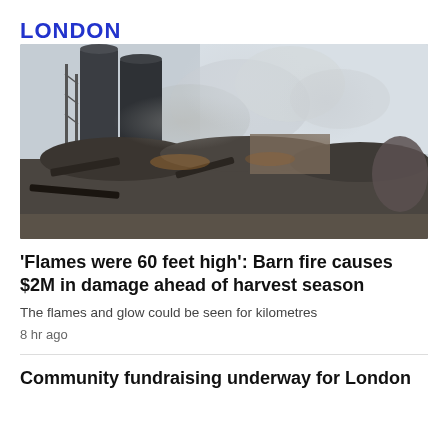LONDON
[Figure (photo): Aftermath of a barn fire showing smouldering debris, charred wood, and large grain silos against a smoky sky]
'Flames were 60 feet high': Barn fire causes $2M in damage ahead of harvest season
The flames and glow could be seen for kilometres
8 hr ago
Community fundraising underway for London